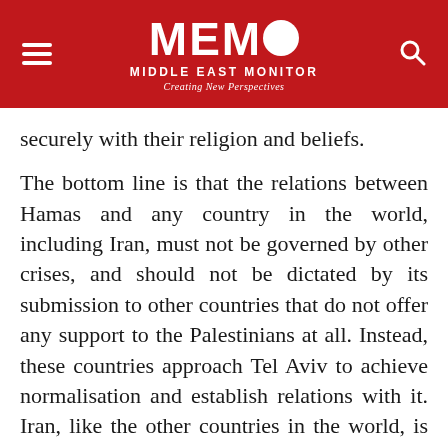MEMO MIDDLE EAST MONITOR — Creating New Perspectives
securely with their religion and beliefs.
The bottom line is that the relations between Hamas and any country in the world, including Iran, must not be governed by other crises, and should not be dictated by its submission to other countries that do not offer any support to the Palestinians at all. Instead, these countries approach Tel Aviv to achieve normalisation and establish relations with it. Iran, like the other countries in the world, is in this region, and it could be in Hamas' interest to ally with it.